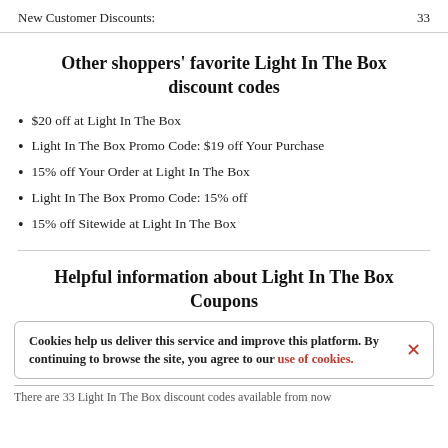New Customer Discounts: 33
Other shoppers' favorite Light In The Box discount codes
$20 off at Light In The Box
Light In The Box Promo Code: $19 off Your Purchase
15% off Your Order at Light In The Box
Light In The Box Promo Code: 15% off
15% off Sitewide at Light In The Box
Helpful information about Light In The Box Coupons
Cookies help us deliver this service and improve this platform. By continuing to browse the site, you agree to our use of cookies.
There are 33 Light In The Box discount codes available from now